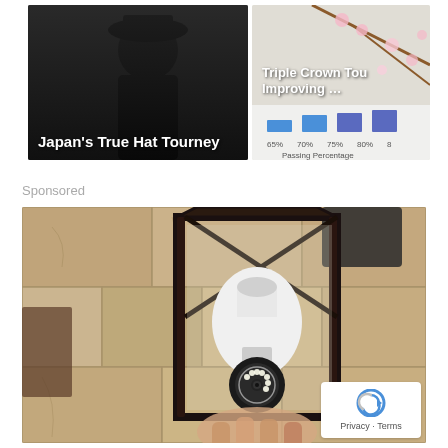[Figure (photo): Thumbnail image showing a person wearing a dark hat with overlay text 'Japan's True Hat Tourney']
[Figure (photo): Thumbnail image showing a chart about passing percentage with overlay text 'Triple Crown Tou... Improving ...']
Sponsored
[Figure (photo): Advertisement photo of a security camera shaped like a light bulb installed in an outdoor wall lantern fixture mounted on a stone wall]